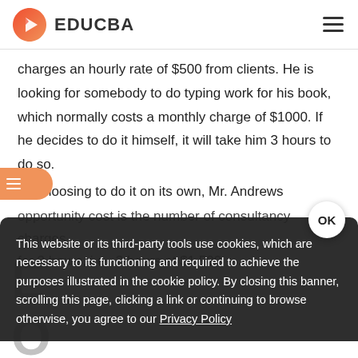EDUCBA
charges an hourly rate of $500 from clients. He is looking for somebody to do typing work for his book, which normally costs a monthly charge of $1000. If he decides to do it himself, it will take him 3 hours to do so.
By choosing to do it on its own, Mr. Andrews opportunity cost is the number of consultancy charges for 3 hours, i.e., 3 hours at $1500
This website or its third-party tools use cookies, which are necessary to its functioning and required to achieve the purposes illustrated in the cookie policy. By closing this banner, scrolling this page, clicking a link or continuing to browse otherwise, you agree to our Privacy Policy
large Big 4 firm and drawing an Annual Pay of